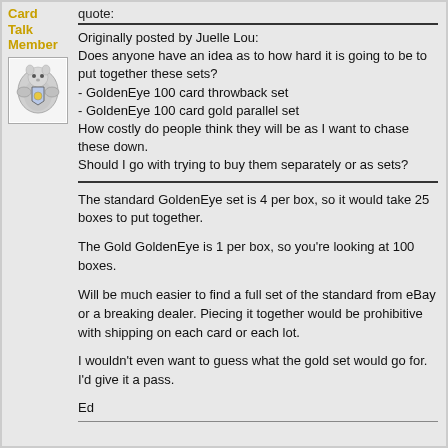Card Talk Member
[Figure (illustration): Avatar image of a cartoon heraldic creature on a white background]
quote:
Originally posted by Juelle Lou:
Does anyone have an idea as to how hard it is going to be to put together these sets?
- GoldenEye 100 card throwback set
- GoldenEye 100 card gold parallel set
How costly do people think they will be as I want to chase these down.
Should I go with trying to buy them separately or as sets?
The standard GoldenEye set is 4 per box, so it would take 25 boxes to put together.
The Gold GoldenEye is 1 per box, so you're looking at 100 boxes.
Will be much easier to find a full set of the standard from eBay or a breaking dealer. Piecing it together would be prohibitive with shipping on each card or each lot.
I wouldn't even want to guess what the gold set would go for. I'd give it a pass.
Ed